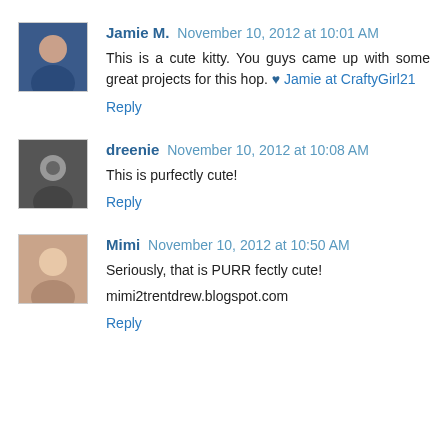[Figure (photo): Avatar photo of Jamie M. - person in blue jacket]
Jamie M. November 10, 2012 at 10:01 AM
This is a cute kitty. You guys came up with some great projects for this hop. ♥ Jamie at CraftyGirl21
Reply
[Figure (photo): Avatar photo of dreenie - close-up portrait]
dreenie November 10, 2012 at 10:08 AM
This is purfectly cute!
Reply
[Figure (photo): Avatar photo of Mimi - older woman]
Mimi November 10, 2012 at 10:50 AM
Seriously, that is PURR fectly cute!
mimi2trentdrew.blogspot.com
Reply